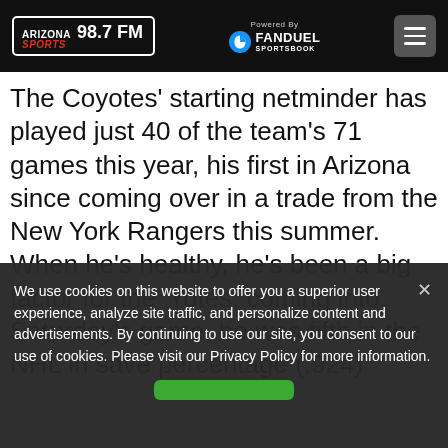Arizona Sports 98.7 FM — Powered By FanDuel Sportsbook
The Coyotes' starting netminder has played just 40 of the team's 71 games this year, his first in Arizona since coming over in a trade from the New York Rangers this summer. When he's healthy, he's been a big factor for the 'Yotes; coming into Saturday's game, he was fifth in the NHL in save percentage (.924)...
We use cookies on this website to offer you a superior user experience, analyze site traffic, and personalize content and advertisements. By continuing to use our site, you consent to our use of cookies. Please visit our Privacy Policy for more information.